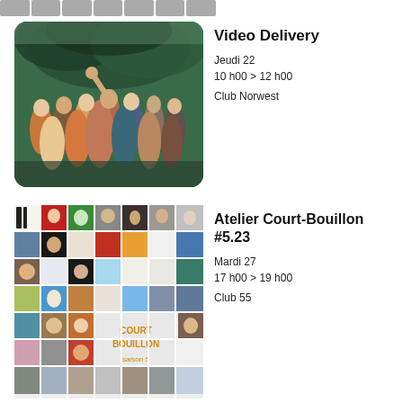[Figure (photo): Strip of small thumbnail photos at top]
[Figure (photo): Group of women singing in a greenhouse with tropical plants]
Video Delivery
Jeudi 22
10 h00 > 12 h00
Club Norwest
[Figure (photo): Grid collage of small artworks and images - Atelier Court-Bouillon season 5 poster]
Atelier Court-Bouillon #5.23
Mardi 27
17 h00 > 19 h00
Club 55